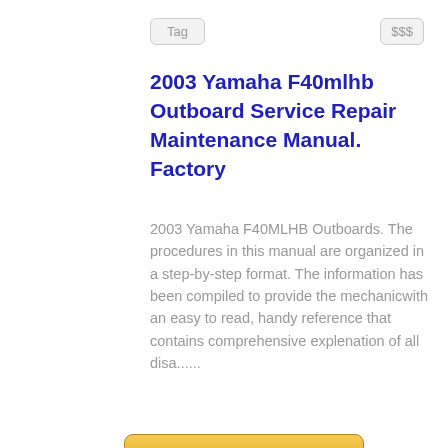Tag
$$$
2003 Yamaha F40mlhb Outboard Service Repair Maintenance Manual. Factory
2003 Yamaha F40MLHB Outboards. The procedures in this manual are organized in a step-by-step format. The information has been compiled to provide the mechanicwith an easy to read, handy reference that contains comprehensive explenation of all disa......
[Figure (other): Download button - golden/yellow gradient button with text 'Download']
14.95 USD
Seller keywords: yamaha shop, yamaha service, yamaha repair
X